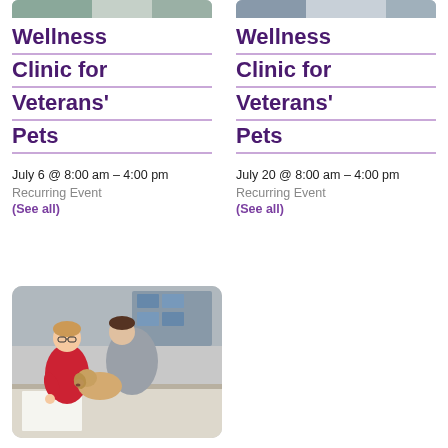[Figure (photo): Partial photo of people with pets at a veterinary clinic (top of page, left column)]
[Figure (photo): Partial photo of people with pets at a veterinary clinic (top of page, right column)]
Wellness Clinic for Veterans' Pets
July 6 @ 8:00 am – 4:00 pm
Recurring Event
(See all)
Wellness Clinic for Veterans' Pets
July 20 @ 8:00 am – 4:00 pm
Recurring Event
(See all)
[Figure (photo): Photo of a veterinarian in red shirt and a man examining a small dog at a clinic table]